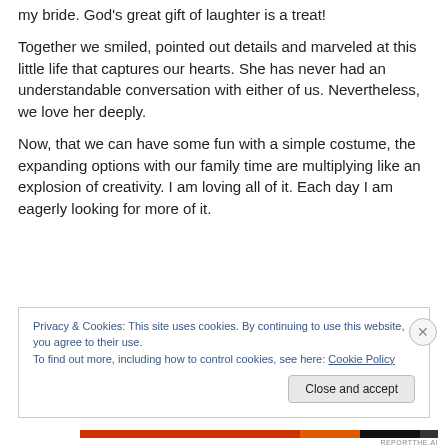my bride.  God’s great gift of laughter is a treat!
Together we smiled, pointed out details and marveled at this little life that captures our hearts.  She has never had an understandable conversation with either of us.  Nevertheless, we love her deeply.
Now, that we can have some fun with a simple costume, the expanding options with our family time are multiplying like an explosion of creativity.  I am loving all of it.  Each day I am eagerly looking for more of it.
Privacy & Cookies: This site uses cookies. By continuing to use this website, you agree to their use.
To find out more, including how to control cookies, see here: Cookie Policy
Close and accept